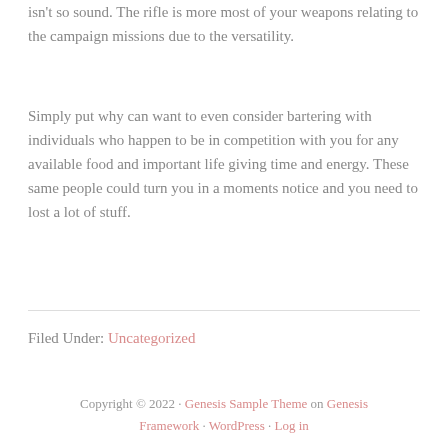isn't so sound. The rifle is more most of your weapons relating to the campaign missions due to the versatility.
Simply put why can want to even consider bartering with individuals who happen to be in competition with you for any available food and important life giving time and energy. These same people could turn you in a moments notice and you need to lost a lot of stuff.
Filed Under: Uncategorized
Copyright © 2022 · Genesis Sample Theme on Genesis Framework · WordPress · Log in